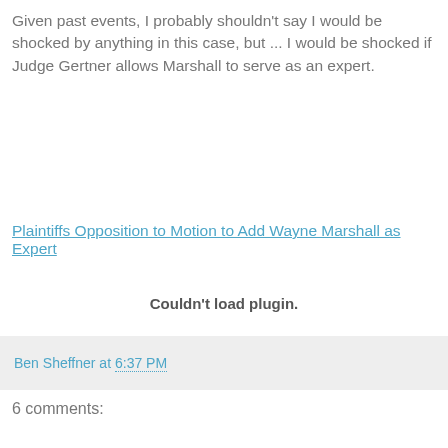Given past events, I probably shouldn't say I would be shocked by anything in this case, but ... I would be shocked if Judge Gertner allows Marshall to serve as an expert.
Plaintiffs Opposition to Motion to Add Wayne Marshall as Expert
Couldn't load plugin.
Ben Sheffner at 6:37 PM
6 comments: